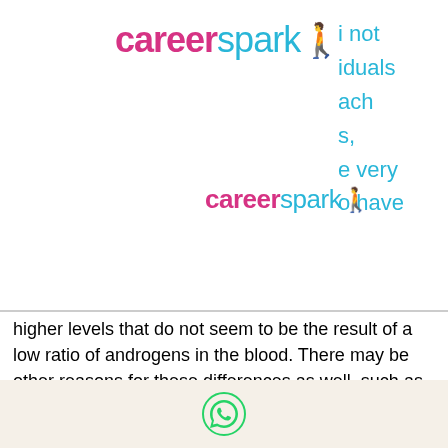careerspark
[Figure (logo): CareerSpark logo, large version, pink 'career' and cyan 'spark' text with figure icon]
[Figure (logo): CareerSpark logo, smaller version, pink 'career' and cyan 'spark' text with figure icon]
i not iduals ach s, e very o have
higher levels that do not seem to be the result of a low ratio of androgens in the blood. There may be other reasons for these differences as well, such as genetics and the environment, crazy bulk testo max side effects. Since not all testosterone replacement medications work equally well for you, the most common combination of medications used is Testosterone Enanthate, Testosterone Testosterone propionate, and Estrogen Cypionate if you have low testosterone or the other supplements are not sufficient for you. Most men on
[Figure (other): WhatsApp chat icon in green at bottom of page]